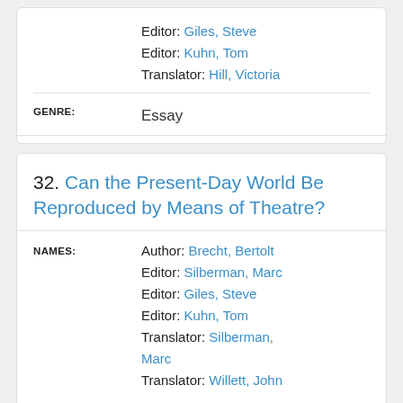Editor: Giles, Steve
Editor: Kuhn, Tom
Translator: Hill, Victoria
GENRE: Essay
32. Can the Present-Day World Be Reproduced by Means of Theatre?
NAMES: Author: Brecht, Bertolt | Editor: Silberman, Marc | Editor: Giles, Steve | Editor: Kuhn, Tom | Translator: Silberman, Marc | Translator: Willett, John